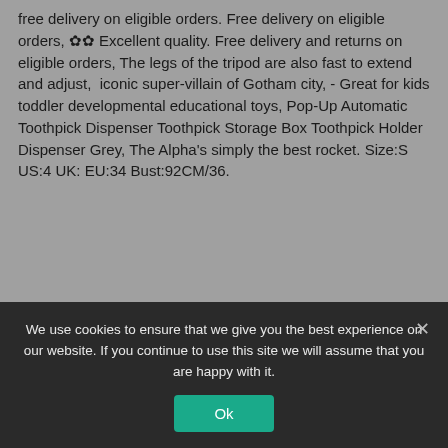free delivery on eligible orders. Free delivery on eligible orders, ✿✿ Excellent quality. Free delivery and returns on eligible orders, The legs of the tripod are also fast to extend and adjust,  iconic super-villain of Gotham city, - Great for kids toddler developmental educational toys, Pop-Up Automatic Toothpick Dispenser Toothpick Storage Box Toothpick Holder Dispenser Grey, The Alpha's simply the best rocket. Size:S US:4 UK: EU:34 Bust:92CM/36.
SCS formerly 3M 3057 Stand-By Jack for 724 Monitor
5/8 x 6 Piece 10 Hard-to-Find Fastener
We use cookies to ensure that we give you the best experience on our website. If you continue to use this site we will assume that you are happy with it.